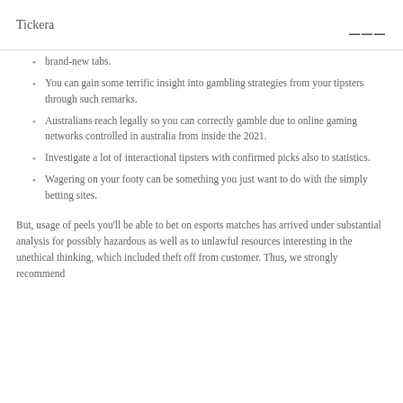Tickera
brand-new tabs.
You can gain some terrific insight into gambling strategies from your tipsters through such remarks.
Australians reach legally so you can correctly gamble due to online gaming networks controlled in australia from inside the 2021.
Investigate a lot of interactional tipsters with confirmed picks also to statistics.
Wagering on your footy can be something you just want to do with the simply betting sites.
But, usage of peels you'll be able to bet on esports matches has arrived under substantial analysis for possibly hazardous as well as to unlawful resources interesting in the unethical thinking, which included theft off from customer. Thus, we strongly recommend